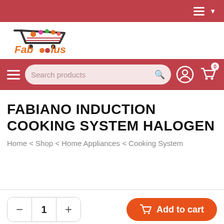Faboolus e-commerce header with hamburger menu
[Figure (logo): Faboolus logo with shopping cart and colorful dots]
Navigation bar with hamburger menu, search box, user icon, cart icon
FABIANO INDUCTION COOKING SYSTEM HALOGEN
Home < Shop < Home Appliances < Cooking System
- 1 + Add to cart